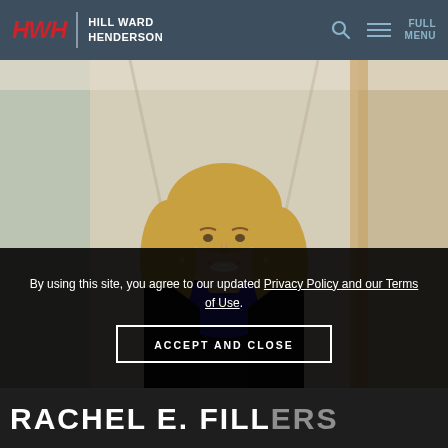HWH | HILL WARD HENDERSON | FULL MENU
[Figure (photo): Professional headshot of a young blonde woman in a black blazer and blue top, smiling, in a corridor/hallway background]
By using this site, you agree to our updated Privacy Policy and our Terms of Use.
ACCEPT AND CLOSE
RACHEL E. FILLERS